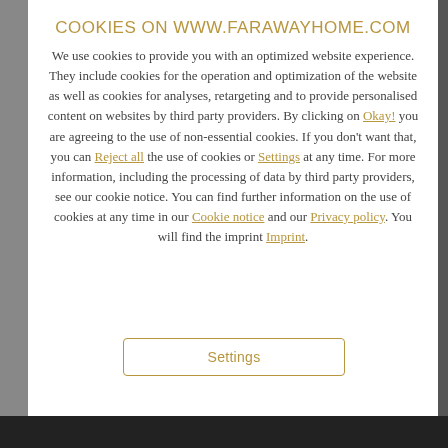COOKIES ON WWW.FARAWAYHOME.COM
We use cookies to provide you with an optimized website experience. They include cookies for the operation and optimization of the website as well as cookies for analyses, retargeting and to provide personalised content on websites by third party providers. By clicking on Okay! you are agreeing to the use of non-essential cookies. If you don't want that, you can Reject all the use of cookies or Settings at any time. For more information, including the processing of data by third party providers, see our cookie notice. You can find further information on the use of cookies at any time in our Cookie notice and our Privacy policy. You will find the imprint Imprint.
Settings